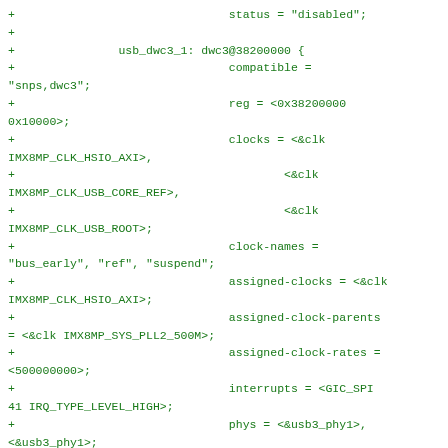source code snippet showing device tree configuration for usb_dwc3_1 node with clock, interrupt, phy, and quirk properties